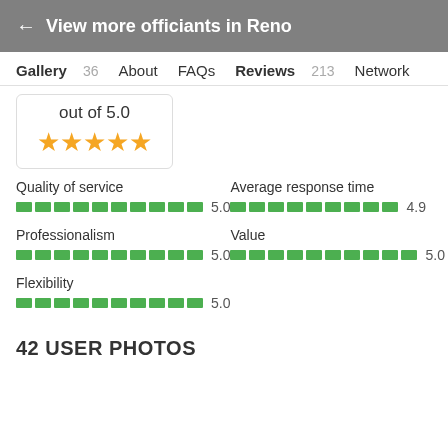← View more officiants in Reno
Gallery 36   About   FAQs   Reviews 213   Network
out of 5.0 ★★★★★
Quality of service
[Figure (infographic): Green segmented progress bar for Quality of service: 5.0]
Average response time
[Figure (infographic): Green segmented progress bar for Average response time: 4.9]
Professionalism
[Figure (infographic): Green segmented progress bar for Professionalism: 5.0]
Value
[Figure (infographic): Green segmented progress bar for Value: 5.0]
Flexibility
[Figure (infographic): Green segmented progress bar for Flexibility: 5.0]
42 USER PHOTOS